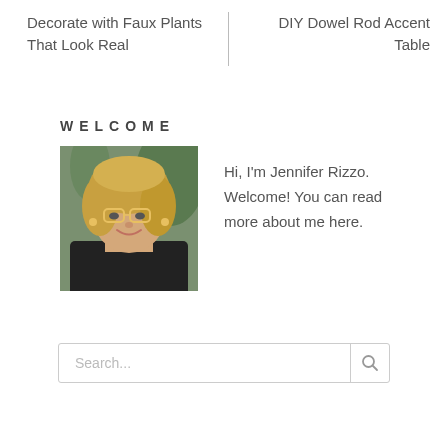Decorate with Faux Plants That Look Real
DIY Dowel Rod Accent Table
WELCOME
[Figure (photo): Portrait photo of Jennifer Rizzo, a woman with blonde wavy hair and glasses, wearing a black top, with green plants in the background.]
Hi, I'm Jennifer Rizzo. Welcome! You can read more about me here.